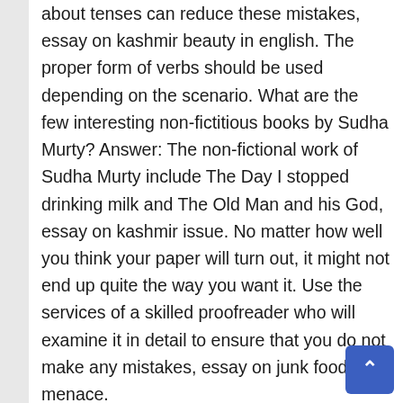about tenses can reduce these mistakes, essay on kashmir beauty in english. The proper form of verbs should be used depending on the scenario. What are the few interesting non-fictitious books by Sudha Murty? Answer: The non-fictional work of Sudha Murty include The Day I stopped drinking milk and The Old Man and his God, essay on kashmir issue. No matter how well you think your paper will turn out, it might not end up quite the way you want it. Use the services of a skilled proofreader who will examine it in detail to ensure that you do not make any mistakes, essay on junk food menace.
Essay on kabaddi match, essay on junk